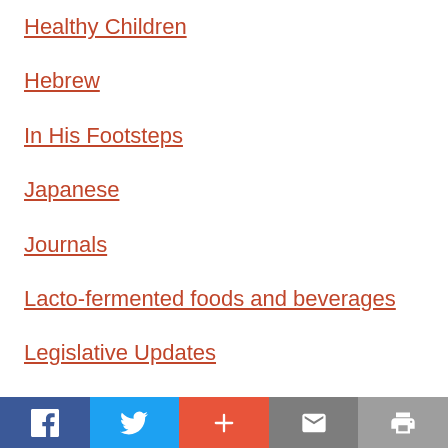Healthy Children
Hebrew
In His Footsteps
Japanese
Journals
Lacto-fermented foods and beverages
Legislative Updates
Letters
Local Chapters
Social share buttons: Facebook, Twitter, Add, Email, Print